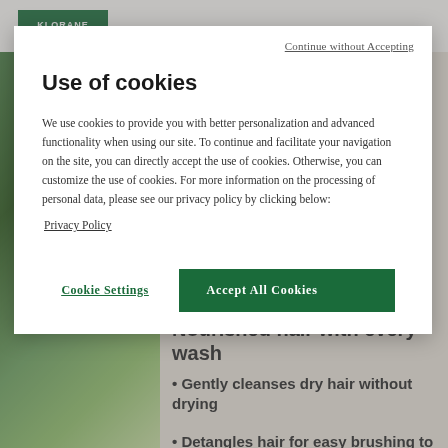[Figure (screenshot): Klorane website background showing navigation bar with green logo, plant/botanical imagery on the left, and product page content on the right with heading 'Nourished hair with every wash' and bullet points about product benefits]
Continue without Accepting
Use of cookies
We use cookies to provide you with better personalization and advanced functionality when using our site. To continue and facilitate your navigation on the site, you can directly accept the use of cookies. Otherwise, you can customize the use of cookies. For more information on the processing of personal data, please see our privacy policy by clicking below:
Privacy Policy
Cookie Settings
Accept All Cookies
Nourished hair with every wash
Gently cleanses dry hair without drying
Detangles hair for easy brushing to limit breakage